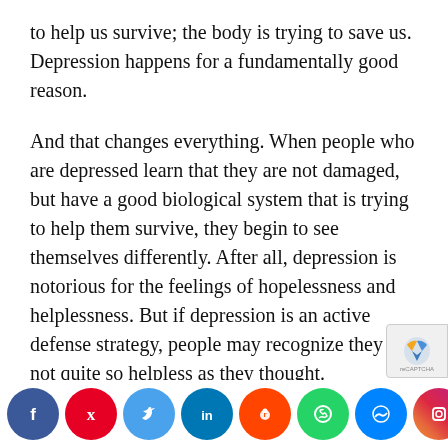to help us survive; the body is trying to save us. Depression happens for a fundamentally good reason.
And that changes everything. When people who are depressed learn that they are not damaged, but have a good biological system that is trying to help them survive, they begin to see themselves differently. After all, depression is notorious for the feelings of hopelessness and helplessness. But if depression is an active defense strategy, people may recognize they are not quite so helpless as they thought.
[Figure (other): Social media share buttons bar: Facebook, Pinterest, Twitter, LinkedIn, Reddit, WhatsApp, Messenger, Instagram, Share]